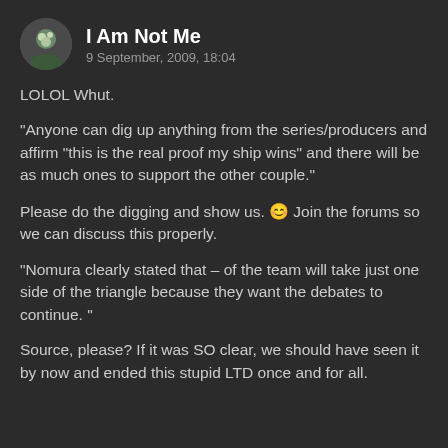I Am Not Me
9 September, 2009, 18:04
LOLOL Whut.
“Anyone can dig up anything from the series/producers and affirm “this is the real proof my ship wins” and there will be as much ones to support the other couple.”
Please do the digging and show us. 😊 Join the forums so we can discuss this properly.
“Nomura clearly stated that – of the team will take just one side of the triangle because they want the debates to continue. ”
Source, please? If it was SO clear, we should have seen it by now and ended this stupid LTD once and for all.